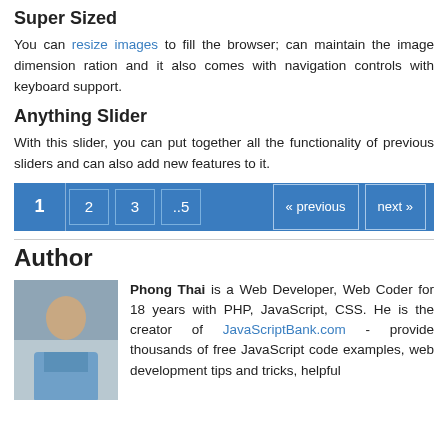Super Sized
You can resize images to fill the browser; can maintain the image dimension ration and it also comes with navigation controls with keyboard support.
Anything Slider
With this slider, you can put together all the functionality of previous sliders and can also add new features to it.
Pagination: 1, 2, 3, ..5, « previous, next »
Author
Phong Thai is a Web Developer, Web Coder for 18 years with PHP, JavaScript, CSS. He is the creator of JavaScriptBank.com - provide thousands of free JavaScript code examples, web development tips and tricks, helpful